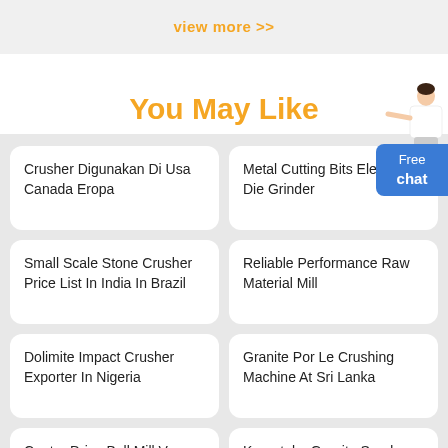view more >>
You May Like
[Figure (illustration): Person figure wearing white blazer pointing, with a blue 'Free chat' button below]
Crusher Digunakan Di Usa Canada Eropa
Metal Cutting Bits Electric Die Grinder
Small Scale Stone Crusher Price List In India In Brazil
Reliable Performance Raw Material Mill
Dolimite Impact Crusher Exporter In Nigeria
Granite Por Le Crushing Machine At Sri Lanka
Center Drive Ball Mill Vs Side Driven Ball Mill
Karnataka Granite Sand Quarry Licence